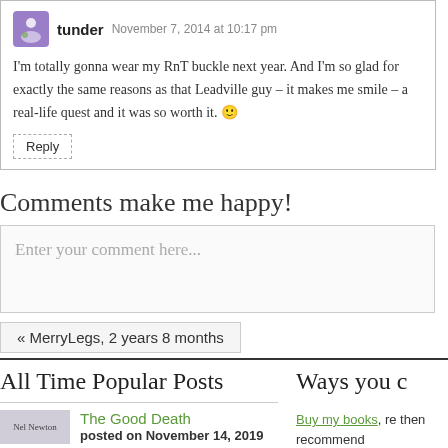I'm totally gonna wear my RnT buckle next year. And I'm so glad for exactly the same reasons as that Leadville guy – it makes me smile – a real-life quest and it was so worth it. 🙂
Reply
Comments make me happy!
Enter your comment here...
« MerryLegs, 2 years 8 months
All Time Popular Posts
Ways you c
The Good Death
posted on November 14, 2019
Buy my books, re then recommend
Groin Muscle Injuries – Anatomy
posted on April 3, 2014